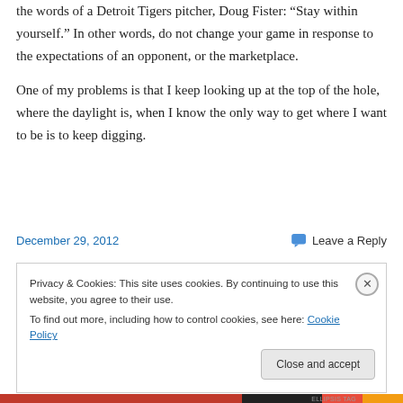the words of a Detroit Tigers pitcher, Doug Fister: “Stay within yourself.” In other words, do not change your game in response to the expectations of an opponent, or the marketplace.
One of my problems is that I keep looking up at the top of the hole, where the daylight is, when I know the only way to get where I want to be is to keep digging.
December 29, 2012
Leave a Reply
Privacy & Cookies: This site uses cookies. By continuing to use this website, you agree to their use.
To find out more, including how to control cookies, see here: Cookie Policy
Close and accept